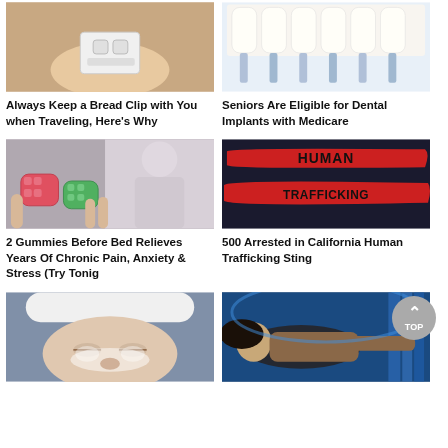[Figure (photo): Hand holding a white plastic bread clip]
Always Keep a Bread Clip with You when Traveling, Here's Why
[Figure (photo): Dental implant shades/samples showing white teeth veneers]
Seniors Are Eligible for Dental Implants with Medicare
[Figure (photo): Colorful gummy candies held in fingers with person in background (black and white)]
2 Gummies Before Bed Relieves Years Of Chronic Pain, Anxiety & Stress (Try Tonig
[Figure (photo): Red ribbon banner with black text reading HUMAN TRAFFICKING on dark background]
500 Arrested in California Human Trafficking Sting
[Figure (photo): Woman with towel on head and cream on face, eyes closed, spa treatment]
[Figure (photo): Woman in blue tanning bed / light therapy setting]